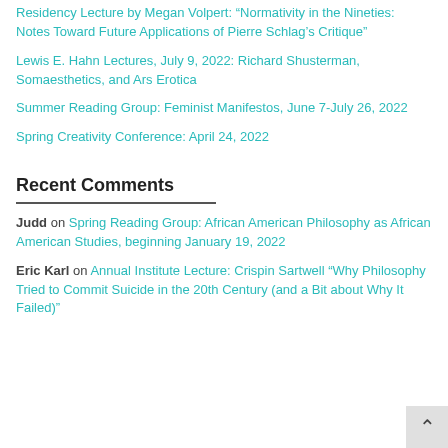Residency Lecture by Megan Volpert: “Normativity in the Nineties: Notes Toward Future Applications of Pierre Schlag’s Critique”
Lewis E. Hahn Lectures, July 9, 2022: Richard Shusterman, Somaesthetics, and Ars Erotica
Summer Reading Group: Feminist Manifestos, June 7-July 26, 2022
Spring Creativity Conference: April 24, 2022
Recent Comments
Judd on Spring Reading Group: African American Philosophy as African American Studies, beginning January 19, 2022
Eric Karl on Annual Institute Lecture: Crispin Sartwell “Why Philosophy Tried to Commit Suicide in the 20th Century (and a Bit about Why It Failed)”